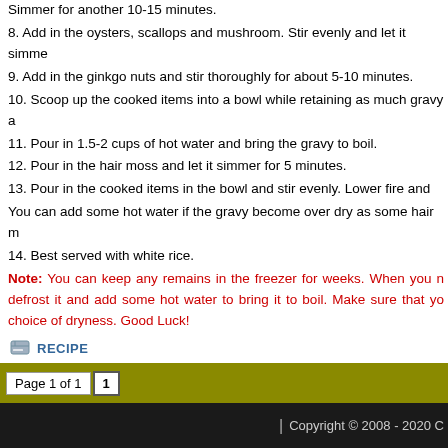Simmer for another 10-15 minutes.
8. Add in the oysters, scallops and mushroom. Stir evenly and let it simme
9. Add in the ginkgo nuts and stir thoroughly for about 5-10 minutes.
10. Scoop up the cooked items into a bowl while retaining as much gravy a
11. Pour in 1.5-2 cups of hot water and bring the gravy to boil.
12. Pour in the hair moss and let it simmer for 5 minutes.
13. Pour in the cooked items in the bowl and stir evenly. Lower fire and
You can add some hot water if the gravy become over dry as some hair m
14. Best served with white rice.
Note: You can keep any remains in the freezer for weeks. When you n defrost it and add some hot water to bring it to boil. Make sure that yo choice of dryness. Good Luck!
(Serves: 8-10)
YOU CAN CHECK HERE FOR MORE RECIPES.
RECIPE
Page 1 of 1  1
| Copyright © 2008 - 2020 C